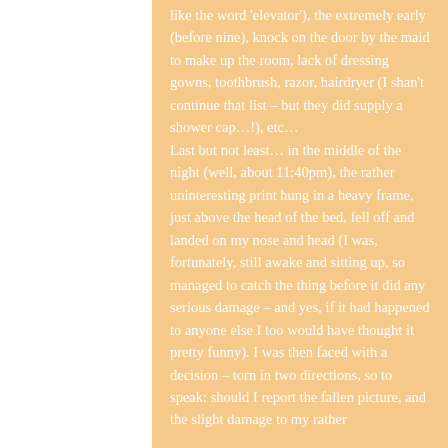like the word 'elevator'), the extremely early (before nine), knock on the door by the maid to make up the room, lack of dressing gowns, toothbrush, razor, hairdryer (I shan't continue that list – but they did supply a shower cap…!), etc… Last but not least… in the middle of the night (well, about 11:40pm), the rather uninteresting print hung in a heavy frame, just above the head of the bed, fell off and landed on my nose and head (I was, fortunately, still awake and sitting up, so managed to catch the thing before it did any serious damage – and yes, if it had happened to anyone else I too would have thought it pretty funny). I was then faced with a decision – torn in two directions, so to speak: should I report the fallen picture, and the slight damage to my rather